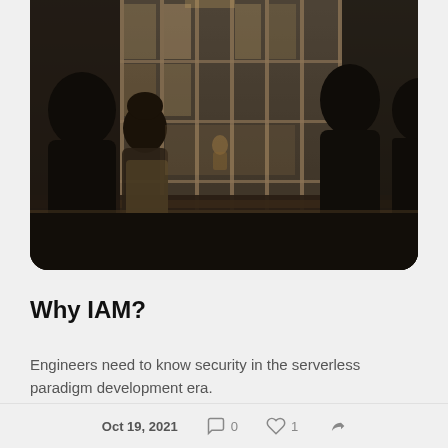[Figure (photo): Dark silhouettes of people standing at what appears to be a reception desk or counter, with large windowed panels visible in the background showing a grand interior space. The image has a moody, dark tone.]
Why IAM?
Engineers need to know security in the serverless paradigm development era.
Security is boring, but I believe that security
Oct 19, 2021   0   1